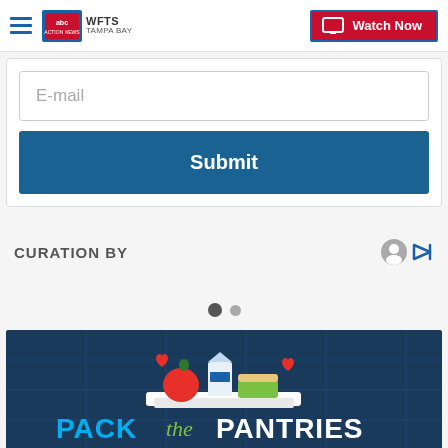WFTS Tampa Bay — Watch Now
E-mail
Submit
CURATION BY
[Figure (other): Two pagination dots — one filled dark, one lighter]
[Figure (illustration): Pack the Pantries logo — colorful food items on a white tray with hearts, text reads PACK the PANTRIES on a dark blue background]